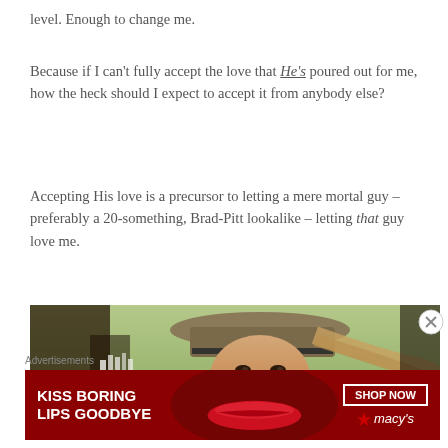level. Enough to change me.
Because if I can't fully accept the love that He's poured out for me, how the heck should I expect to accept it from anybody else?
Accepting His love is a precursor to letting a mere mortal guy – preferably a 20-something, Brad-Pitt lookalike – letting that guy love me.
[Figure (photo): A smiling young man wearing a cowboy hat, with long hair blowing in the wind, outdoors in a bright setting.]
Advertisements
[Figure (illustration): Macy's advertisement banner: 'KISS BORING LIPS GOODBYE' with a woman's face showing red lips, a 'SHOP NOW' button, and the Macy's star logo.]